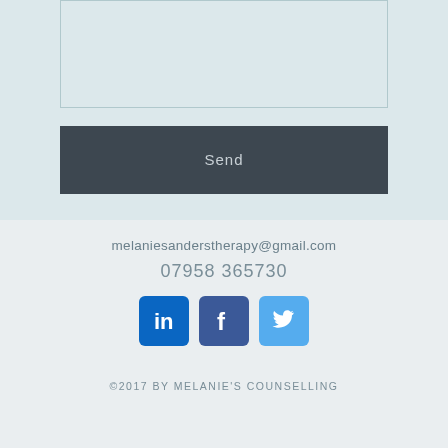[Figure (screenshot): Light blue form text area box at the top of the page]
[Figure (screenshot): Dark grey Send button]
melaniesanderstherapy@gmail.com
07958 365730
[Figure (other): Social media icons: LinkedIn, Facebook, Twitter]
©2017 BY MELANIE'S COUNSELLING